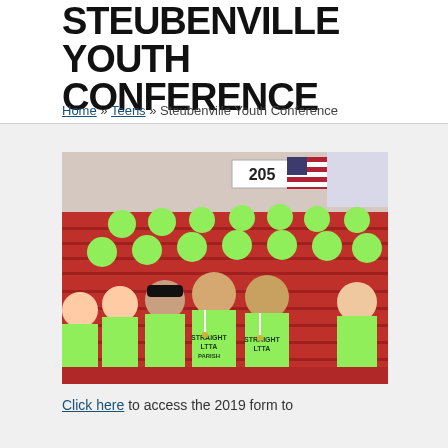STEUBENVILLE YOUTH CONFERENCE
Home » Teens » Steubenville Youth Conference
[Figure (photo): Group of teens wearing bright neon green t-shirts sitting in red stadium bleachers. A number '205' sign and an American flag are visible in the background. The group is smiling at the camera.]
Click here to access the 2019 form to